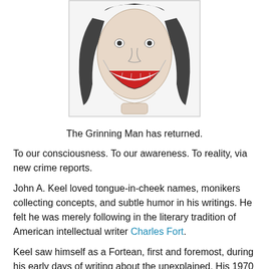[Figure (illustration): Pencil sketch illustration of a grinning man with long hair and an exaggerated wide smile, shown from shoulders up, facing forward.]
The Grinning Man has returned.
To our consciousness. To our awareness. To reality, via new crime reports.
John A. Keel loved tongue-in-cheek names, monikers collecting concepts, and subtle humor in his writings. He felt he was merely following in the literary tradition of American intellectual writer Charles Fort.
Keel saw himself as a Fortean, first and foremost, during his early days of writing about the unexplained. His 1970 book, Strange Creatures from Time and Space, is a tome full of such names. Take, for example, his chapter "Creatures from